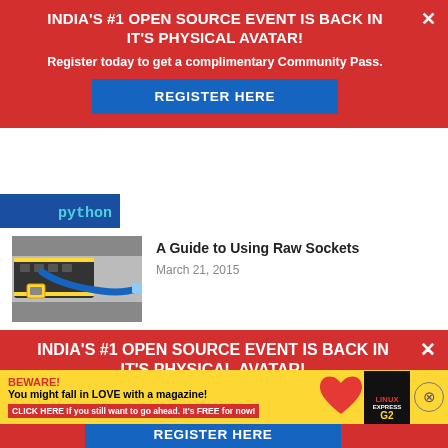[Figure (screenshot): Red promotional banner: INDIA'S #1 OPEN SOURCE EVENT IS BACK IN IT'S PHYSICAL AVATAR! with Register Here button and close X]
[Figure (photo): Partial thumbnail showing 'python' text on blue background, cropped]
[Figure (photo): Thumbnail of network switch with blue ethernet cable plugged in]
A Guide to Using Raw Sockets
March 21, 2015
[Figure (screenshot): Second red promotional banner: INDIA'S #1 OPEN SOURCE EVENT IS BACK IN IT'S PHYSICAL AVATAR! with Register Here button and close X]
[Figure (screenshot): Yellow advertisement: BEWARE! You might fall in LOVE with a magazine! CLICK HERE If you still want to go ahead. It's FREE for now! with heart graphic and magazine cover]
Home › Co... r AWS
Cloud Soluti...